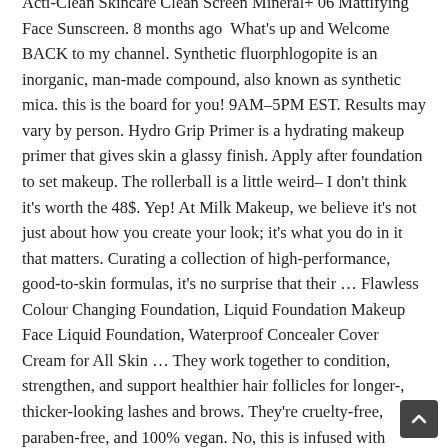Acti-Clean Skincare Clean Screen Mineral+ 06 Mattifying Face Sunscreen. 8 months ago  What's up and Welcome BACK to my channel. Synthetic fluorphlogopite is an inorganic, man-made compound, also known as synthetic mica. this is the board for you! 9AM–5PM EST. Results may vary by person. Hydro Grip Primer is a hydrating makeup primer that gives skin a glassy finish. Apply after foundation to set makeup. The rollerball is a little weird– I don't think it's worth the 48$. Yep! At Milk Makeup, we believe it's not just about how you create your look; it's what you do in it that matters. Curating a collection of high-performance, good-to-skin formulas, it's no surprise that their … Flawless Colour Changing Foundation, Liquid Foundation Makeup Face Liquid Foundation, Waterproof Concealer Cover Cream for All Skin … They work together to condition, strengthen, and support healthier hair follicles for longer-, thicker-looking lashes and brows. They're cruelty-free, paraben-free, and 100% vegan. No, this is infused with hydrating ingredients to moisturize, calm, and soothe skin. We wa